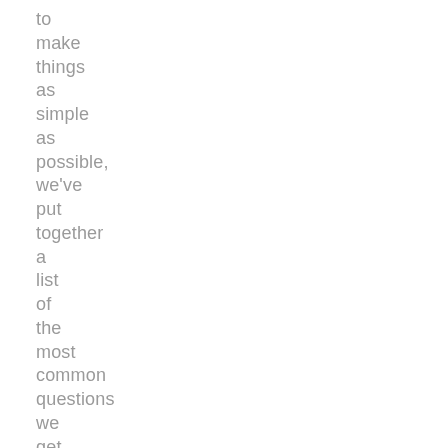to make things as simple as possible, we've put together a list of the most common questions we get asked on a day